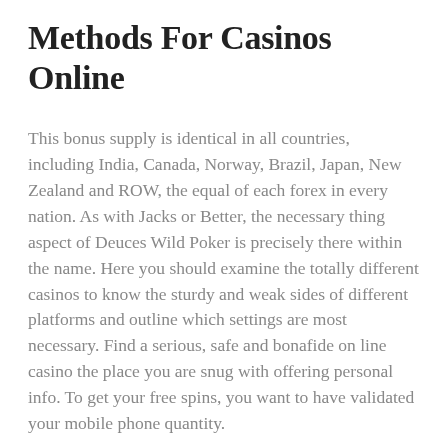Methods For Casinos Online
This bonus supply is identical in all countries, including India, Canada, Norway, Brazil, Japan, New Zealand and ROW, the equal of each forex in every nation. As with Jacks or Better, the necessary thing aspect of Deuces Wild Poker is precisely there within the name. Here you should examine the totally different casinos to know the sturdy and weak sides of different platforms and outline which settings are most necessary. Find a serious, safe and bonafide on line casino the place you are snug with offering personal info. To get your free spins, you want to have validated your mobile phone quantity.
Team members with direct or indirect supporting roles for PlayLive! Please examine with your supervisor for the corporate policy in your place. The funds will then switch to the Slot Machine and be obtainable to play